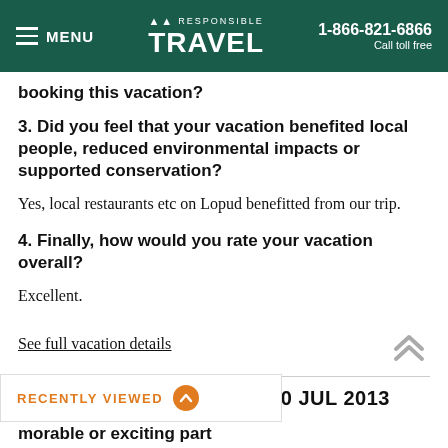MENU | RESPONSIBLE TRAVEL | 1-866-821-6866 Call toll free
booking this vacation?
3. Did you feel that your vacation benefited local people, reduced environmental impacts or supported conservation?
Yes, local restaurants etc on Lopud benefitted from our trip.
4. Finally, how would you rate your vacation overall?
Excellent.
See full vacation details
ALISON ACTON REVIEW 30 JUL 2013
★★★★★
RECENTLY VIEWED
morable or exciting part